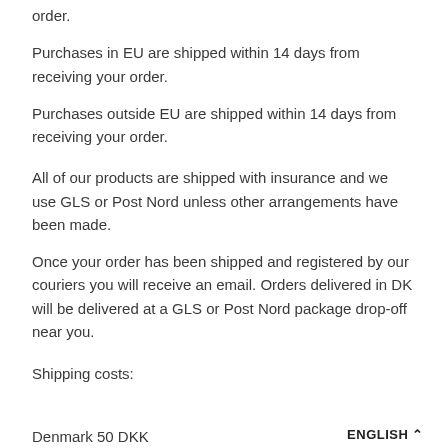order.
Purchases in EU are shipped within 14 days from receiving your order.
Purchases outside EU are shipped within 14 days from receiving your order.
All of our products are shipped with insurance and we use GLS or Post Nord unless other arrangements have been made.
Once your order has been shipped and registered by our couriers you will receive an email. Orders delivered in DK will be delivered at a GLS or Post Nord package drop-off near you.
Shipping costs:
Denmark 50 DKK
ENGLISH